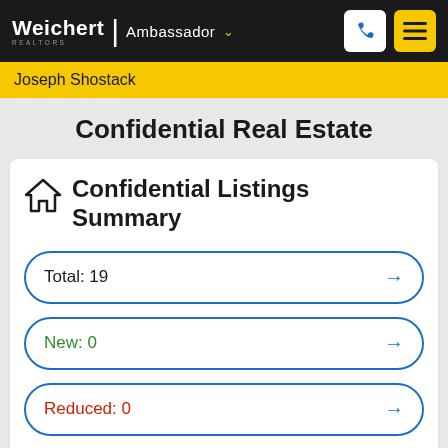Weichert | Ambassador
Joseph Shostack
Confidential Real Estate
Confidential Listings Summary
Total: 19
New: 0
Reduced: 0